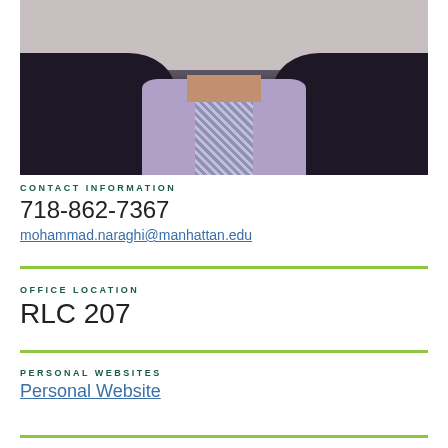[Figure (photo): Professional headshot of a man in a dark suit, light purple shirt, and patterned tie]
CONTACT INFORMATION
718-862-7367
mohammad.naraghi@manhattan.edu
OFFICE LOCATION
RLC 207
PERSONAL WEBSITES
Personal Website